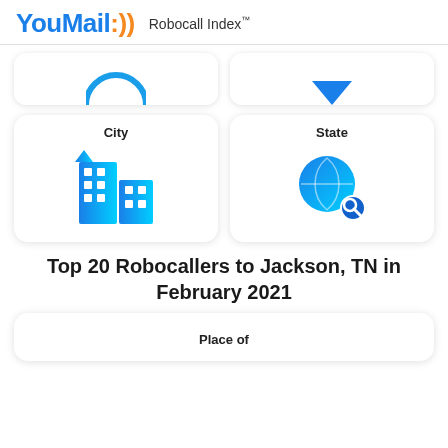YouMail Robocall Index™
[Figure (illustration): Partial top row of two navigation cards with blue circular icons (partially cropped)]
[Figure (illustration): City card with blue building icon and label 'City']
[Figure (illustration): State card with blue globe/search icon and label 'State']
Top 20 Robocallers to Jackson, TN in February 2021
Place of